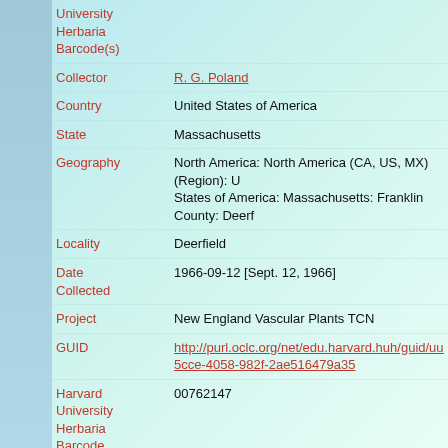| Field | Value |
| --- | --- |
| University Herbaria Barcode(s) |  |
| Collector | R. G. Poland |
| Country | United States of America |
| State | Massachusetts |
| Geography | North America: North America (CA, US, MX) (Region): United States of America: Massachusetts: Franklin County: Deerfield |
| Locality | Deerfield |
| Date Collected | 1966-09-12 [Sept. 12, 1966] |
| Project | New England Vascular Plants TCN |
| GUID | http://purl.oclc.org/net/edu.harvard.huh/guid/uuid/fec...5cce-4058-982f-2ae516479a35 |
| Harvard University Herbaria Barcode | 00762147 |
| Herbarium | NEBC |
| Family | Polygonaceae |
| Determination | Polygonella articulata (Linnaeus) Meisner |
| Determination Remarks | [is filed under name] [is Current name] |